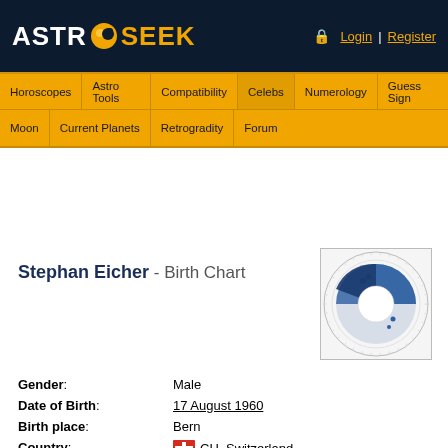ASTRO SEEK - Login | Register
Horoscopes | Astro Tools | Compatibility | Celebs | Numerology | Guess Sign
Moon | Current Planets | Retrogradity | Forum
Stephan Eicher - Birth Chart
[Figure (other): Astrological birth chart circular diagram thumbnail showing blue and dark sections with planetary positions]
| Field | Value |
| --- | --- |
| Gender: | Male |
| Date of Birth: | 17 August 1960 |
| Birth place: | Bern |
| Country: | CH, Switzerland |